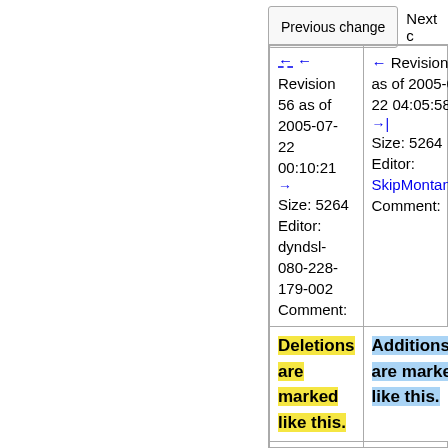Previous change   Next c
| Revision 56 as of 2005-07-22 00:10:21 | ← Revision 57 as of 2005-07-22 04:05:58 → |
| --- | --- |
| ← ←
Revision 56 as of 2005-07-22 00:10:21
→
Size: 5264
Editor: dyndsl-080-228-179-002
Comment: | ← Revision 57 as of 2005-07-22 04:05:58 →
→|
Size: 5264
Editor: SkipMontanaro
Comment: |
| Deletions are marked like this. | Additions are marked like this. |
| Line 5: | Line 5: |